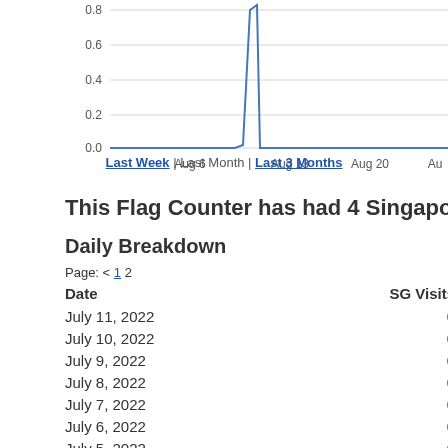[Figure (line-chart): Line chart showing a spike around Aug 10 reaching above 0.8, with values near 0.0 otherwise]
Last Week | Last Month | Last 3 Months
This Flag Counter has had 4 Singapore visitors!
Daily Breakdown
Page: < 1 2
| Date | SG Visits |
| --- | --- |
| July 11, 2022 | 0 |
| July 10, 2022 | 0 |
| July 9, 2022 | 0 |
| July 8, 2022 | 0 |
| July 7, 2022 | 0 |
| July 6, 2022 | 0 |
| July 5, 2022 | 0 |
| July 4, 2022 | 0 |
| July 3, 2022 | 0 |